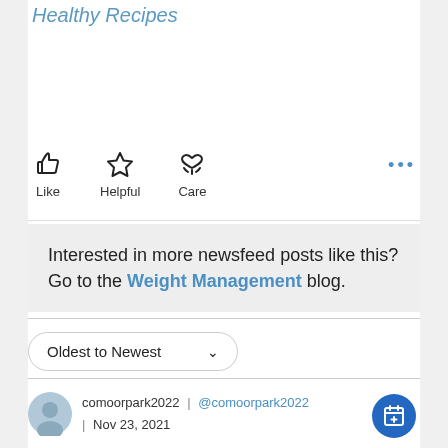Healthy Recipes
[Figure (infographic): Social media reaction icons: Like (thumbs up), Helpful (star), Care (hand holding heart), and a more options button (three dots)]
Interested in more newsfeed posts like this? Go to the Weight Management blog.
[Figure (other): Sort dropdown selector showing 'Oldest to Newest' with a chevron down arrow]
comoorpark2022  |  @comoorpark2022  |  Nov 23, 2021